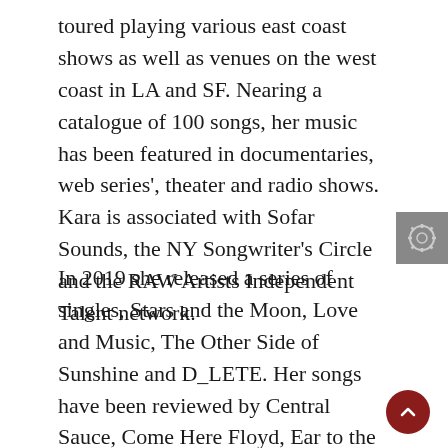toured playing various east coast shows as well as venues on the west coast in LA and SF. Nearing a catalogue of 100 songs, her music has been featured in documentaries, web series', theater and radio shows. Kara is associated with Sofar Sounds, the NY Songwriter's Circle and the RAW Artists Independent Talent network.
In 2019 she released a series of singles, Stars and the Moon, Love and Music, The Other Side of Sunshine and D_LETE. Her songs have been reviewed by Central Sauce, Come Here Floyd, Ear to the Ground, Staccatofy